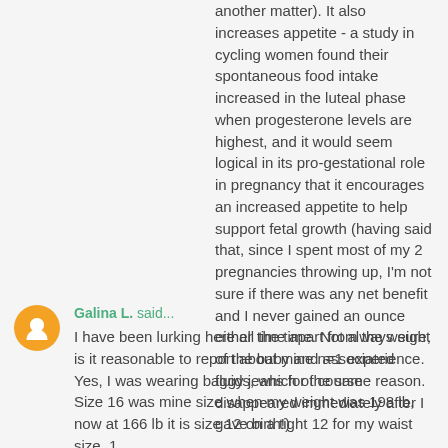another matter). It also increases appetite - a study in cycling women found their spontaneous food intake increased in the luteal phase when progesterone levels are highest, and it would seem logical in its pro-gestational role in pregnancy that it encourages an increased appetite to help support fetal growth (having said that, since I spent most of my 2 pregnancies throwing up, I'm not sure if there was any net benefit and I never gained an ounce either time apart from the weight of the baby and associated fluids, which of course disappeared immediately after I gave birth!)
April 28, 2011 at 11:43 AM
Galina L. said...
I have been lurking here all the time. Not always sure, is it reasonable to report about mine n=1 experience. Yes, I was wearing baggy jeans for the same reason. Size 16 was mine size when my weight was 198 lb, now at 166 lb it is size 12 on a tight 12 for my waist size, 1